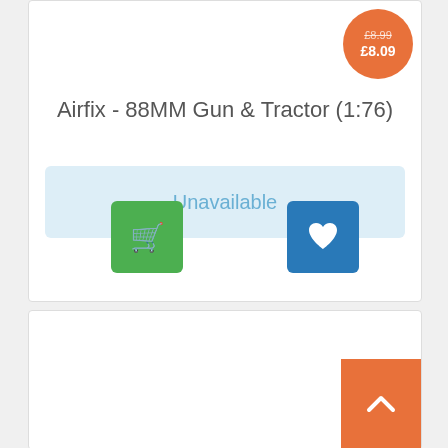[Figure (infographic): Orange circular price badge showing original price £8.99 (struck through) and sale price £8.09 in white text]
Airfix - 88MM Gun & Tractor (1:76)
Unavailable
[Figure (infographic): Green square button with white shopping cart icon]
[Figure (infographic): Blue square button with white heart/wishlist icon]
[Figure (infographic): Orange square back-to-top button with white upward chevron arrow]